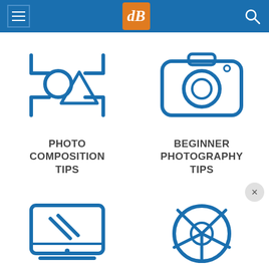dPS navigation header
[Figure (illustration): Blue line icon: composition/focus brackets with circle and triangle shapes inside, representing Photo Composition Tips]
PHOTO COMPOSITION TIPS
[Figure (illustration): Blue line icon: camera outline with lens circle, representing Beginner Photography Tips]
BEGINNER PHOTOGRAPHY TIPS
[Figure (illustration): Blue line icon: laptop/monitor with diagonal lines on screen, representing a photography editing topic]
[Figure (illustration): Blue line icon: aperture/lens diaphragm shape, representing a photography topic]